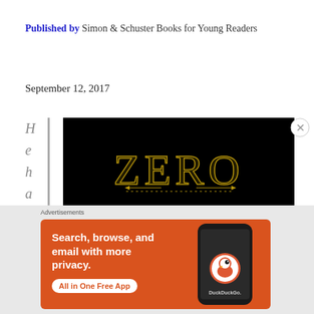Published by Simon & Schuster Books for Young Readers
September 12, 2017
H e h a s
[Figure (photo): Book cover of 'Zero Repeat Forever' with gold art-deco lettering on a black background showing ZERO above REPEAT]
Advertisements
[Figure (other): DuckDuckGo advertisement banner: Search, browse, and email with more privacy. All in One Free App. Shows a dark smartphone with the DuckDuckGo logo.]